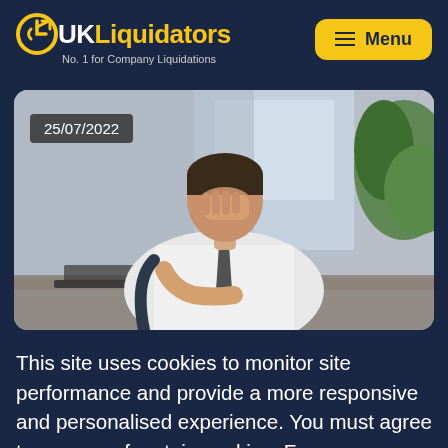UK Liquidators — No. 1 for Company Liquidations | Menu
[Figure (photo): Man in white dress shirt sitting at desk with hand covering his face in a stressed pose, with a laptop in front and a plant in the background. Date overlay reads 25/07/2022.]
This site uses cookies to monitor site performance and provide a more responsive and personalised experience. You must agree to our use of certain cookies. For more information on how we use and manage